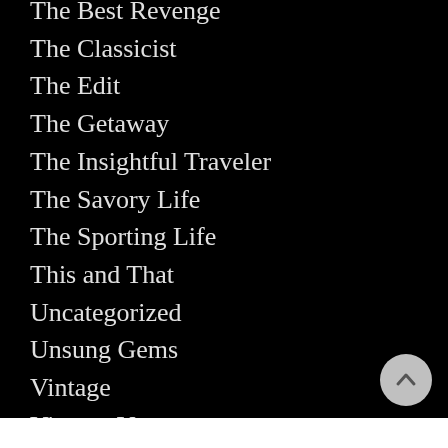The Best Revenge
The Classicist
The Edit
The Getaway
The Insightful Traveler
The Savory Life
The Sporting Life
This and That
Uncategorized
Unsung Gems
Vintage
Vintage Vantage
Weekend Road Trips
Wendy Worldwide
Your Food
Zwecker Reports